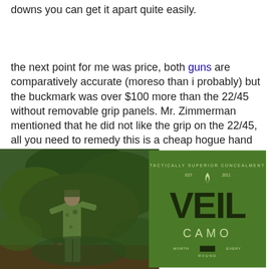downs you can get it apart quite easily.
the next point for me was price, both guns are comparatively accurate (moreso than i probably) but the buckmark was over $100 more than the 22/45 without removable grip panels. Mr. Zimmerman mentioned that he did not like the grip on the 22/45, all you need to remedy this is a cheap hogue hand all grip to slip on. so i was able to fix that issue for 15 bucks, and still come out spending less than a buckmark.
Finally my 22/45 will eat any type of 22lr ammo out there ( it is not picky at all, much like my 40 cal p- [continues] er when [continues] mark will not [continues] v jackets
[Figure (photo): Person in camouflage outfit near a tree in a forested area]
[Figure (logo): VEIL CAMO logo on olive/green background with tagline WORTH EVERY ROUND]